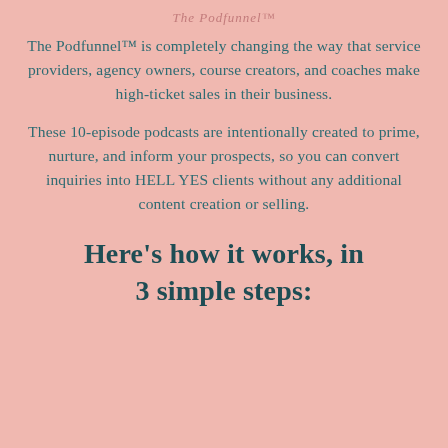The Podfunnel™
The Podfunnel™ is completely changing the way that service providers, agency owners, course creators, and coaches make high-ticket sales in their business.
These 10-episode podcasts are intentionally created to prime, nurture, and inform your prospects, so you can convert inquiries into HELL YES clients without any additional content creation or selling.
Here's how it works, in 3 simple steps: